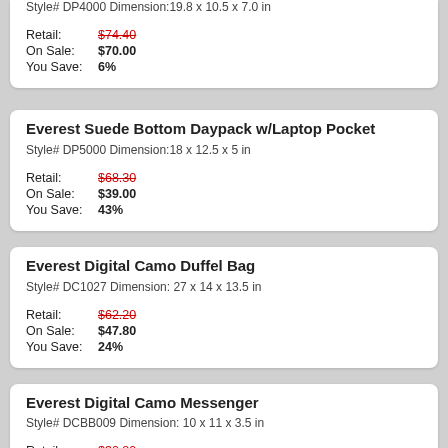Style# DP4000 Dimension:19.8 x 10.5 x 7.0 in
Retail: $74.40
On Sale: $70.00
You Save: 6%
Everest Suede Bottom Daypack w/Laptop Pocket
Style# DP5000 Dimension:18 x 12.5 x 5 in
Retail: $68.30
On Sale: $39.00
You Save: 43%
Everest Digital Camo Duffel Bag
Style# DC1027 Dimension: 27 x 14 x 13.5 in
Retail: $62.20
On Sale: $47.80
You Save: 24%
Everest Digital Camo Messenger
Style# DCBB009 Dimension: 10 x 11 x 3.5 in
Retail: $30.80
On Sale: $18.60